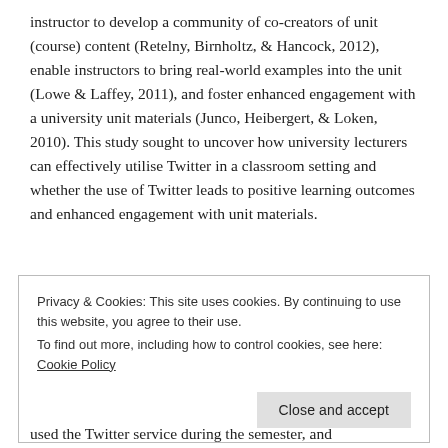instructor to develop a community of co-creators of unit (course) content (Retelny, Birnholtz, & Hancock, 2012), enable instructors to bring real-world examples into the unit (Lowe & Laffey, 2011), and foster enhanced engagement with a university unit materials (Junco, Heibergert, & Loken, 2010). This study sought to uncover how university lecturers can effectively utilise Twitter in a classroom setting and whether the use of Twitter leads to positive learning outcomes and enhanced engagement with unit materials.
Privacy & Cookies: This site uses cookies. By continuing to use this website, you agree to their use.
To find out more, including how to control cookies, see here: Cookie Policy
used the Twitter service during the semester, and